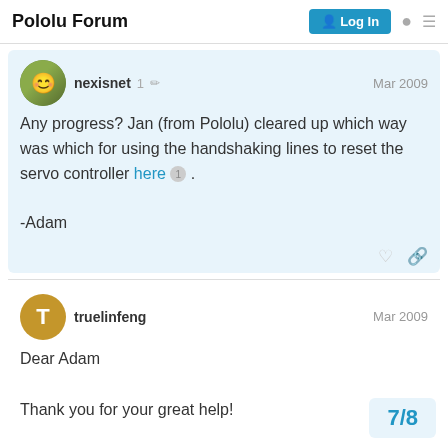Pololu Forum
nexisnet  1  Mar 2009
Any progress? Jan (from Pololu) cleared up which way was which for using the handshaking lines to reset the servo controller here 1 .

-Adam
truelinfeng  Mar 2009
Dear Adam

Thank you for your great help!

I have solved the problem according to yo
7/8